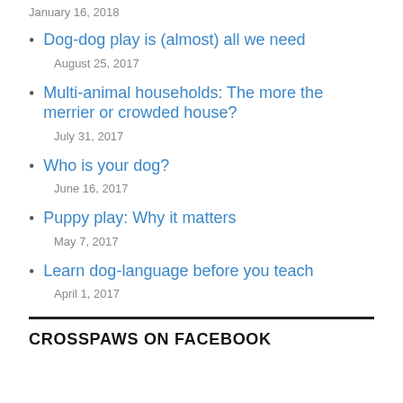January 16, 2018
Dog-dog play is (almost) all we need
August 25, 2017
Multi-animal households: The more the merrier or crowded house?
July 31, 2017
Who is your dog?
June 16, 2017
Puppy play: Why it matters
May 7, 2017
Learn dog-language before you teach
April 1, 2017
CROSSPAWS ON FACEBOOK